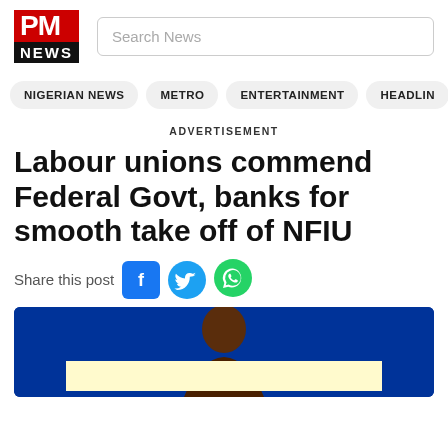PM NEWS
Search News
NIGERIAN NEWS
METRO
ENTERTAINMENT
HEADLIN
ADVERTISEMENT
Labour unions commend Federal Govt, banks for smooth take off of NFIU
Share this post
[Figure (photo): Person photographed against blue background with a light yellow advertisement overlay banner]